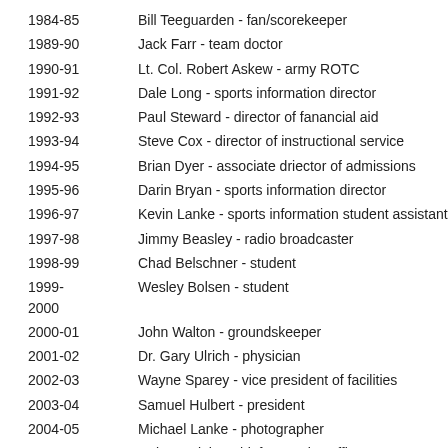1984-85   Bill Teeguarden - fan/scorekeeper
1989-90   Jack Farr - team doctor
1990-91   Lt. Col. Robert Askew - army ROTC
1991-92   Dale Long - sports information director
1992-93   Paul Steward - director of fanancial aid
1993-94   Steve Cox - director of instructional service
1994-95   Brian Dyer - associate driector of admissions
1995-96   Darin Bryan - sports information director
1996-97   Kevin Lanke - sports information student assistant
1997-98   Jimmy Beasley - radio broadcaster
1998-99   Chad Belschner - student
1999-2000   Wesley Bolsen - student
2000-01   John Walton - groundskeeper
2001-02   Dr. Gary Ulrich - physician
2002-03   Wayne Sparey - vice president of facilities
2003-04   Samuel Hulbert - president
2004-05   Michael Lanke - photographer
2005-06   Robert Bright - chief executive officer
2006-07   David Patterson - Terre Haute convention and visitors